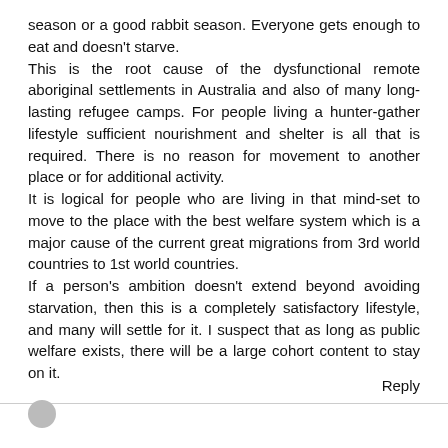season or a good rabbit season. Everyone gets enough to eat and doesn't starve.
This is the root cause of the dysfunctional remote aboriginal settlements in Australia and also of many long-lasting refugee camps. For people living a hunter-gather lifestyle sufficient nourishment and shelter is all that is required. There is no reason for movement to another place or for additional activity.
It is logical for people who are living in that mind-set to move to the place with the best welfare system which is a major cause of the current great migrations from 3rd world countries to 1st world countries.
If a person's ambition doesn't extend beyond avoiding starvation, then this is a completely satisfactory lifestyle, and many will settle for it. I suspect that as long as public welfare exists, there will be a large cohort content to stay on it.
Reply